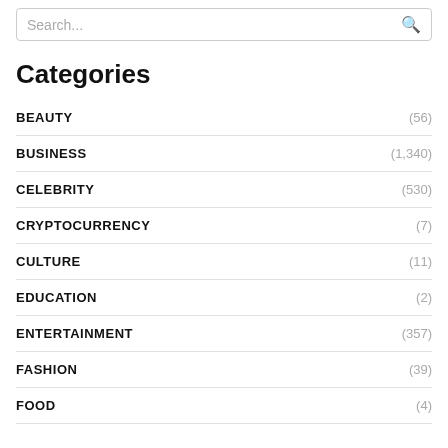Search...
Categories
BEAUTY (56)
BUSINESS (1,340)
CELEBRITY (530)
CRYPTOCURRENCY (7)
CULTURE (11)
EDUCATION (2)
ENTERTAINMENT (357)
FASHION (39)
FOOD (4)